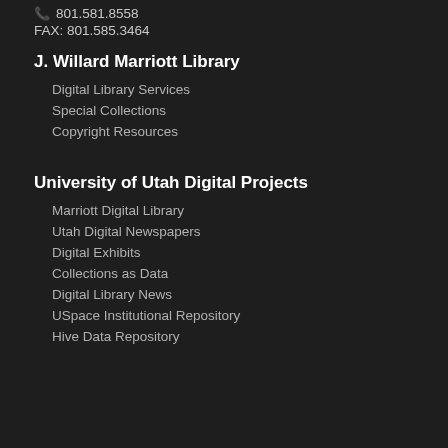801.581.8558
FAX: 801.585.3464
J. Willard Marriott Library
Digital Library Services
Special Collections
Copyright Resources
University of Utah Digital Projects
Marriott Digital Library
Utah Digital Newspapers
Digital Exhibits
Collections as Data
Digital Library News
USpace Institutional Repository
Hive Data Repository